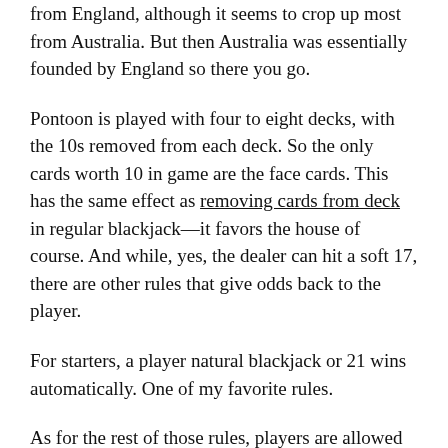from England, although it seems to crop up most from Australia. But then Australia was essentially founded by England so there you go.
Pontoon is played with four to eight decks, with the 10s removed from each deck. So the only cards worth 10 in game are the face cards. This has the same effect as removing cards from deck in regular blackjack—it favors the house of course. And while, yes, the dealer can hit a soft 17, there are other rules that give odds back to the player.
For starters, a player natural blackjack or 21 wins automatically. One of my favorite rules.
As for the rest of those rules, players are allowed to double after splitting a pair, but players can only double on 9s, 10s and 11s; doubling down on a soft hand forces the Ace to be counted as 1 regardless of